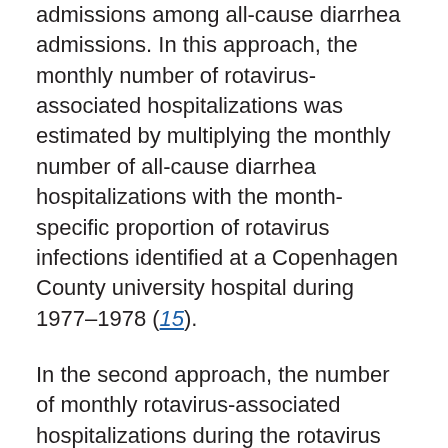admissions among all-cause diarrhea admissions. In this approach, the monthly number of rotavirus-associated hospitalizations was estimated by multiplying the monthly number of all-cause diarrhea hospitalizations with the month-specific proportion of rotavirus infections identified at a Copenhagen County university hospital during 1977–1978 (15).
In the second approach, the number of monthly rotavirus-associated hospitalizations during the rotavirus season was estimated as the registered number of all-cause diarrhea admissions minus the expected level on the basis of the much lower average level of all-cause diarrhea admissions outside the season. The expected number was estimated by using a log-linear Poisson regression model; the dependent variable was the monthly number of all-cause diarrhea admissions outside the season. A